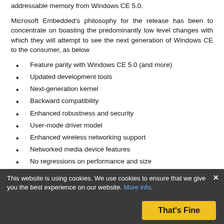addressable memory from Windows CE 5.0.
Microsoft Embedded's philosophy for the release has been to concentrate on boasting the predominantly low level changes with which they will attempt to see the next generation of Windows CE to the consumer, as below
Feature parity with Windows CE 5.0 (and more)
Updated development tools
Next-generation kernel
Backward compatibility
Enhanced robustness and security
User-mode driver model
Enhanced wireless networking support
Networked media device features
No regressions on performance and size
In addition to these low level changes, the beta release of Yamazaki, unveiled for the first time on 9th May at the 2005 Mobile Developers Conference MEDC contains significant further improvements over the application layer applications added by its predecessors.
Finally Windows CE 6 supports more of ...